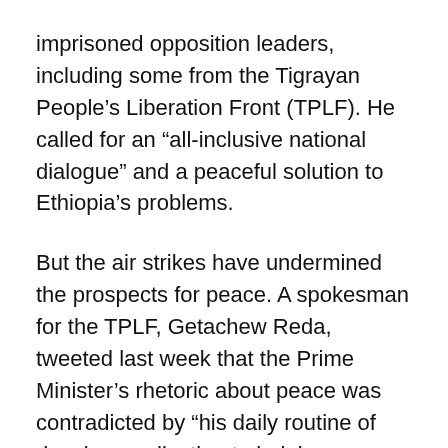imprisoned opposition leaders, including some from the Tigrayan People’s Liberation Front (TPLF). He called for an “all-inclusive national dialogue” and a peaceful solution to Ethiopia’s problems.
But the air strikes have undermined the prospects for peace. A spokesman for the TPLF, Getachew Reda, tweeted last week that the Prime Minister’s rhetoric about peace was contradicted by “his daily routine of denying medication to helpless children and sending drones targeting civilians.”